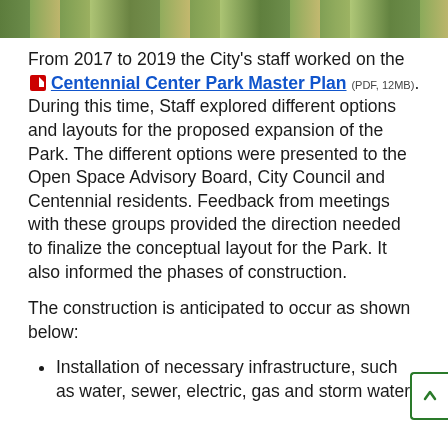[Figure (photo): Aerial or landscape photograph strip of Centennial Center Park area showing green spaces]
From 2017 to 2019 the City's staff worked on the [PDF icon] Centennial Center Park Master Plan (PDF, 12MB). During this time, Staff explored different options and layouts for the proposed expansion of the Park. The different options were presented to the Open Space Advisory Board, City Council and Centennial residents. Feedback from meetings with these groups provided the direction needed to finalize the conceptual layout for the Park. It also informed the phases of construction.
The construction is anticipated to occur as shown below:
Installation of necessary infrastructure, such as water, sewer, electric, gas and storm water.